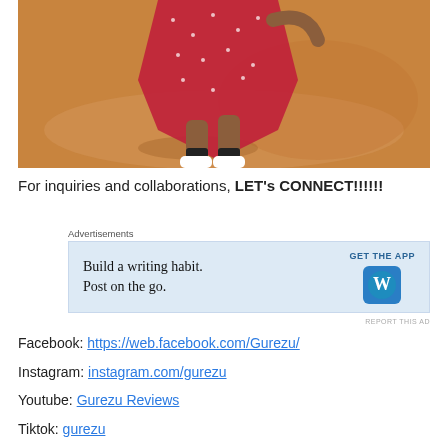[Figure (photo): Photo of a person in a red floral dress and white sneakers, crouching on sandy ground viewed from above]
For inquiries and collaborations, LET's CONNECT!!!!!!
[Figure (infographic): WordPress advertisement banner: 'Build a writing habit. Post on the go.' with GET THE APP button and WordPress logo on blue background]
REPORT THIS AD
Facebook: https://web.facebook.com/Gurezu/
Instagram: instagram.com/gurezu
Youtube: Gurezu Reviews
Tiktok: gurezu